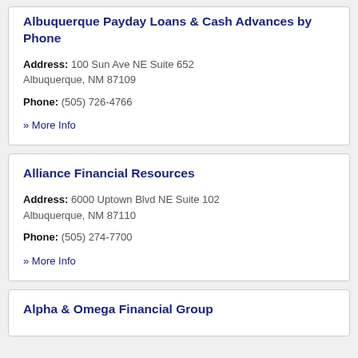Albuquerque Payday Loans & Cash Advances by Phone
Address: 100 Sun Ave NE Suite 652 Albuquerque, NM 87109
Phone: (505) 726-4766
» More Info
Alliance Financial Resources
Address: 6000 Uptown Blvd NE Suite 102 Albuquerque, NM 87110
Phone: (505) 274-7700
» More Info
Alpha & Omega Financial Group